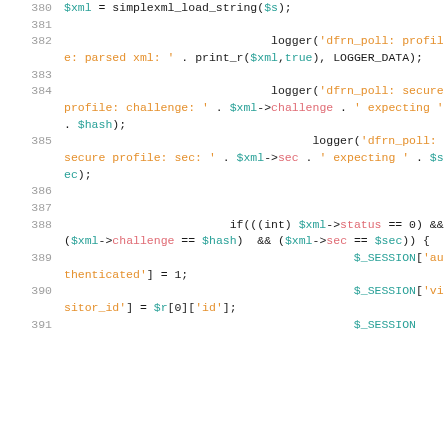Source code listing lines 380-391 showing PHP code for XML parsing and session authentication